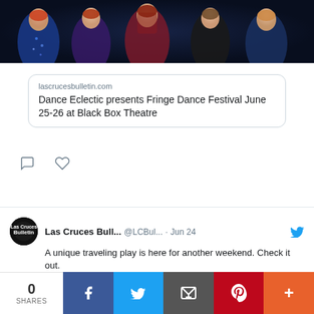[Figure (photo): Group of women in sequined dance costumes posing for photo shoot against dark background]
lascrucesbulletin.com
Dance Eclectic presents Fringe Dance Festival June 25-26 at Black Box Theatre
Las Cruces Bull... @LCBul... · Jun 24
A unique traveling play is here for another weekend. Check it out. lascrucesbulletin.com/stories/murder....?
[Figure (photo): Woman in sparkly sequined jacket and dark skirt with pearl-encrusted bag, fashion photo]
0 SHARES  f  Twitter  Email  Pinterest  +